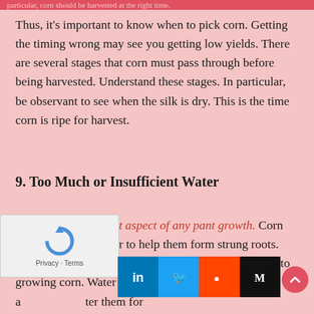particular, corn should be harvested at the right time.
Thus, it's important to know when to pick corn. Getting the timing wrong may see you getting low yields. There are several stages that corn must pass through before being harvested. Understand these stages. In particular, be observant to see when the silk is dry. This is the time corn is ripe for harvest.
9. Too Much or Insufficient Water
Water is an important aspect of any pant growth. Corn requires a lot of water to help them form strung roots. Thus, don't limit the water to corn. It won't rage them to growing corn. Water them deeply. them on a ter them for